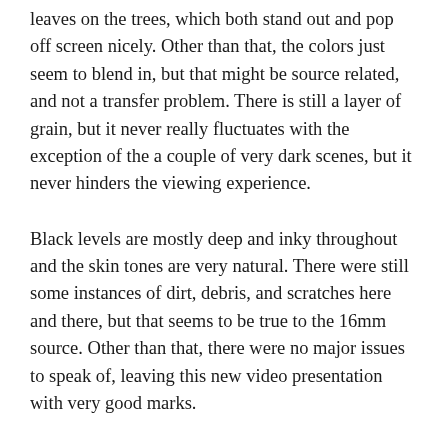leaves on the trees, which both stand out and pop off screen nicely. Other than that, the colors just seem to blend in, but that might be source related, and not a transfer problem. There is still a layer of grain, but it never really fluctuates with the exception of the a couple of very dark scenes, but it never hinders the viewing experience.
Black levels are mostly deep and inky throughout and the skin tones are very natural. There were still some instances of dirt, debris, and scratches here and there, but that seems to be true to the 16mm source. Other than that, there were no major issues to speak of, leaving this new video presentation with very good marks.